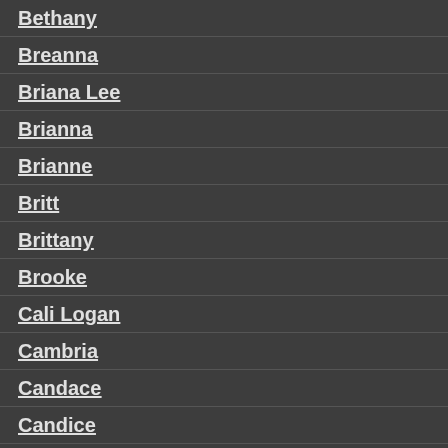Bethany
Breanna
Briana Lee
Brianna
Brianne
Britt
Brittany
Brooke
Cali Logan
Cambria
Candace
Candice
Casey
Casie
Chanel
Chantel
Charlie